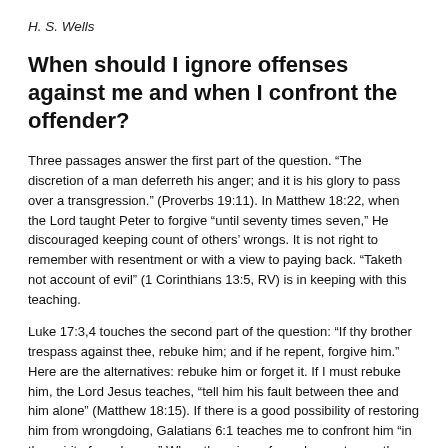H. S. Wells
When should I ignore offenses against me and when I confront the offender?
Three passages answer the first part of the question. “The discretion of a man deferreth his anger; and it is his glory to pass over a transgression.” (Proverbs 19:11). In Matthew 18:22, when the Lord taught Peter to forgive “until seventy times seven,” He discouraged keeping count of others’ wrongs. It is not right to remember with resentment or with a view to paying back. “Taketh not account of evil” (1 Corinthians 13:5, RV) is in keeping with this teaching.
Luke 17:3,4 touches the second part of the question: “If thy brother trespass against thee, rebuke him; and if he repent, forgive him.” Here are the alternatives: rebuke him or forget it. If I must rebuke him, the Lord Jesus teaches, “tell him his fault between thee and him alone” (Matthew 18:15). If there is a good possibility of restoring him from wrongdoing, Galatians 6:1 teaches me to confront him “in the spirit of meekness.” When there is professed repentance, the Lord instructs me to forgive, since only God can measure its